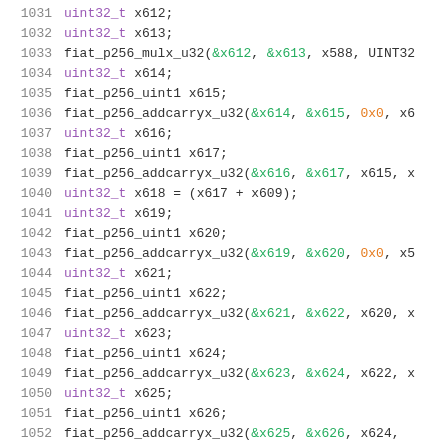Code listing lines 1031-1052, C source code with syntax highlighting showing uint32_t declarations and fiat_p256 function calls